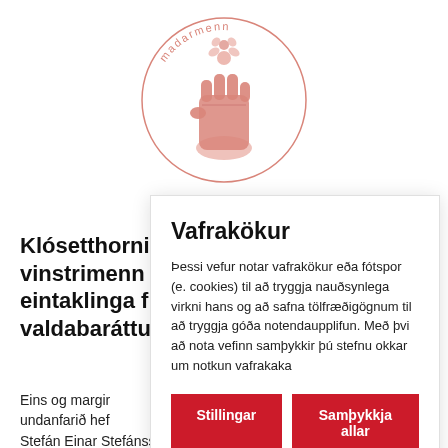[Figure (logo): Circular logo with a raised fist holding a flower, pink/salmon color, with text 'madarmenn' around the circle]
Klósetthorni... vinstrimenn s... eintaklinga f... valdabaráttu...
Eins og margir... undanfarið hef... Stefán Einar Stefánsson, verd að þja sig um slobodina
Vafrakökur
Þessi vefur notar vafrakökur eða fótspor (e. cookies) til að tryggja nauðsynlega virkni hans og að safna tölfræðigögnum til að tryggja góða notendaupplifun. Með þvi að nota vefinn samþykkir þú stefnu okkar um notkun vafrakaka
Stillingar | Samþykkja allar